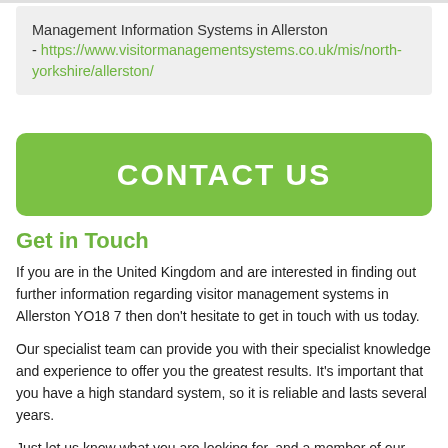Management Information Systems in Allerston - https://www.visitormanagementsystems.co.uk/mis/north-yorkshire/allerston/
CONTACT US
Get in Touch
If you are in the United Kingdom and are interested in finding out further information regarding visitor management systems in Allerston YO18 7 then don't hesitate to get in touch with us today.
Our specialist team can provide you with their specialist knowledge and experience to offer you the greatest results. It's important that you have a high standard system, so it is reliable and lasts several years.
Just let us know what you are looking for, and a member of our team will get back to you as soon as possible with everything you need to know. Simply enter your details in the contact form, and we